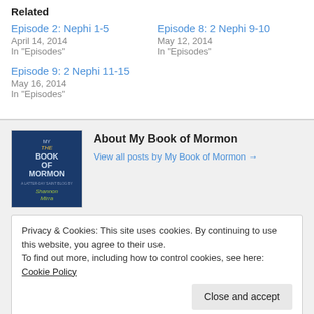Related
Episode 2: Nephi 1-5
April 14, 2014
In "Episodes"
Episode 8: 2 Nephi 9-10
May 12, 2014
In "Episodes"
Episode 9: 2 Nephi 11-15
May 16, 2014
In "Episodes"
About My Book of Mormon
View all posts by My Book of Mormon →
Privacy & Cookies: This site uses cookies. By continuing to use this website, you agree to their use.
To find out more, including how to control cookies, see here: Cookie Policy
Close and accept